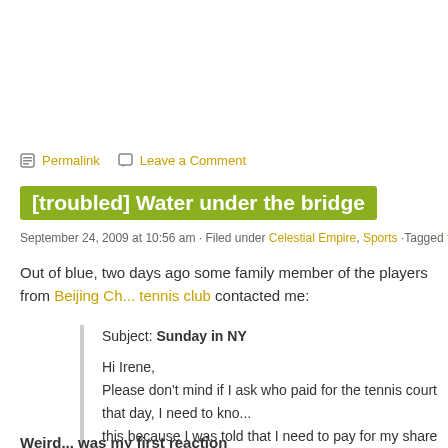Permalink   Leave a Comment
[troubled] Water under the bridge
September 24, 2009 at 10:56 am · Filed under Celestial Empire, Sports ·Tagged tennis
Out of blue, two days ago some family member of the players from Beijing Ch... tennis club contacted me:
Subject: Sunday in NY

Hi Irene,
Please don't mind if I ask who paid for the tennis court that day, I need to kno... this because I was told that I need to pay for my share of the fee, and I am no... even part of the tennis team.
Thanks,
Weird... was my first reaction